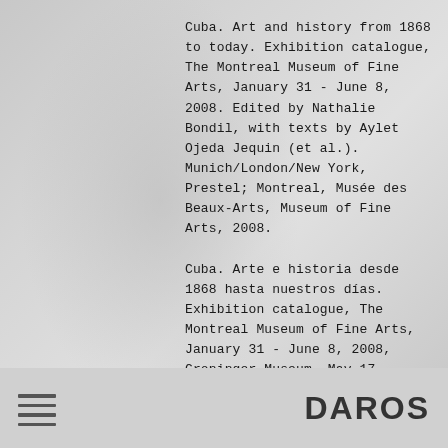Cuba. Art and history from 1868 to today. Exhibition catalogue, The Montreal Museum of Fine Arts, January 31 - June 8, 2008. Edited by Nathalie Bondil, with texts by Aylet Ojeda Jequin (et al.). Munich/London/New York, Prestel; Montreal, Musée des Beaux-Arts, Museum of Fine Arts, 2008.
Cuba. Arte e historia desde 1868 hasta nuestros días. Exhibition catalogue, The Montreal Museum of Fine Arts, January 31 - June 8, 2008, Groninger Museum, May 17 - September 13, 2009. Edited by Nathalie Bondil, with texts by Aylet Ojeda Jequin (et al.). Munich/London/New York, Prestel; Montreal, Musée des Beaux-Arts, Museum of Fine Arts, 2008.
DAROS